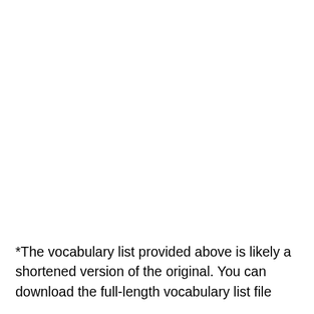*The vocabulary list provided above is likely a shortened version of the original. You can download the full-length vocabulary list file